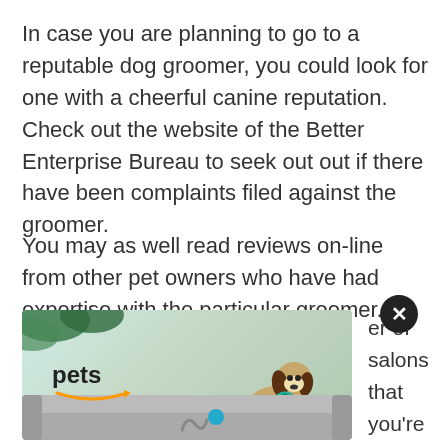In case you are planning to go to a reputable dog groomer, you could look for one with a cheerful canine reputation. Check out the website of the Better Enterprise Bureau to seek out out if there have been complaints filed against the groomer.
You may as well read reviews on-line from other pet owners who have had expertise with the particular groomer.
[Figure (photo): Amazon Pets advertisement showing a beagle dog sitting on a gray couch with toys, with 'pets' text and Amazon smile logo]
er of salons that you're excited by sit the facility and tour the area. the groomers work, and whether equipment to make use of